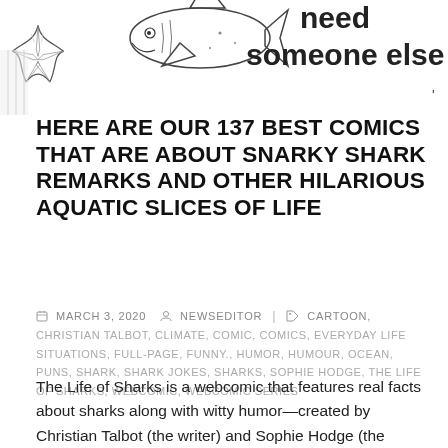[Figure (illustration): Partial view of a comic strip showing a fish/shark illustration on the left and text reading 'need someone else' on the right, in black and white sketch style]
HERE ARE OUR 137 BEST COMICS THAT ARE ABOUT SNARKY SHARK REMARKS AND OTHER HILARIOUS AQUATIC SLICES OF LIFE
MARCH 3, 2020  NEWSEDITOR  CARTOON, CHRISTIAN TALBOT, CLIMATE, COMIC, COMICS, EVERYDAY LIFE SITUATIONS, FULL-PAGE, FUNNY., HUMOR, HUMOUR, OCEAN, PUNS, SHARK, SHARK JOKES, SHARKS, SOPHIE HODGE, THE LIFE OF SHARKS, WEBCOMIC, WEBCOMIC SERIES
The Life of Sharks is a webcomic that features real facts about sharks along with witty humor—created by Christian Talbot (the writer) and Sophie Hodge (the illustrator). Mostly our comic is about the minutiae of everyday life, relationships, and emotions. We thought it would be funny to put